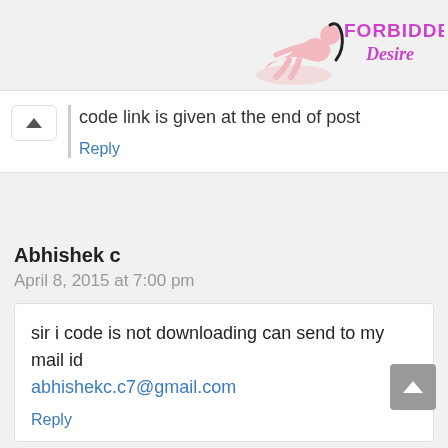[Figure (logo): Forbidden Desire logo with pink figure and purple/pink stylized text]
code link is given at the end of post
Reply
Abhishek c
April 8, 2015 at 7:00 pm
sir i code is not downloading can send to my mail id abhishekc.c7@gmail.com
Reply